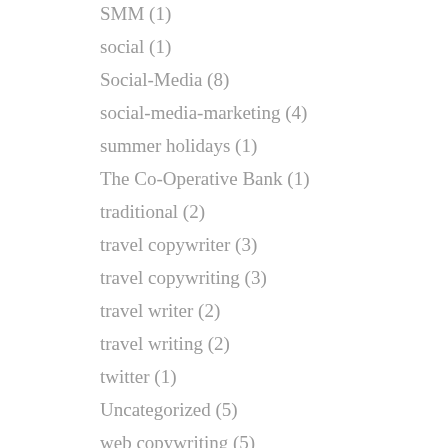SMM (1)
social (1)
Social-Media (8)
social-media-marketing (4)
summer holidays (1)
The Co-Operative Bank (1)
traditional (2)
travel copywriter (3)
travel copywriting (3)
travel writer (2)
travel writing (2)
twitter (1)
Uncategorized (5)
web copywriting (5)